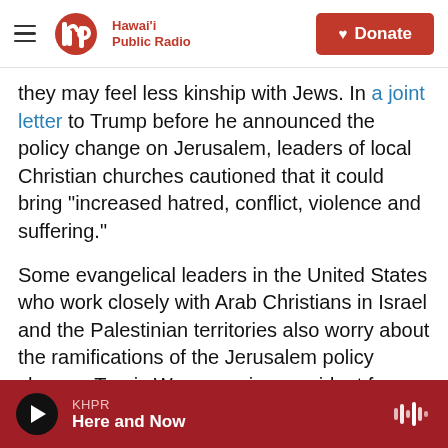[Figure (logo): Hawaii Public Radio logo with hamburger menu and Donate button]
they may feel less kinship with Jews. In a joint letter to Trump before he announced the policy change on Jerusalem, leaders of local Christian churches cautioned that it could bring "increased hatred, conflict, violence and suffering."
Some evangelical leaders in the United States who work closely with Arab Christians in Israel and the Palestinian territories also worry about the ramifications of the Jerusalem policy change. Travis Wussow, vice president for public policy at the Southern Baptist Convention's Ethics and Religious Liberty Commission, called Trump's
KHPR Here and Now